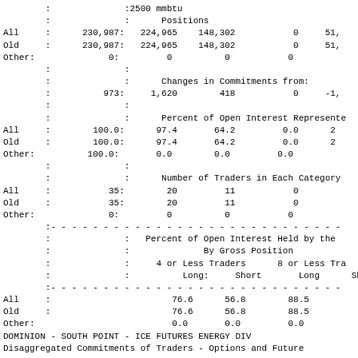|   |   | :2500 mmbtu |  |  |  |  |
|   |   | :  | Positions |  |  |  |
| All | : | 230,987: | 224,965 | 148,302 | 0 | 51, |
| Old | : | 230,987: | 224,965 | 148,302 | 0 | 51, |
| Other: |  | 0: | 0 | 0 | 0 |  |
|  | : |  |  |  |  |  |
|  | : |  | Changes in Commitments from: |  |  |  |
|  | : | 973: | 1,620 | 418 | 0 | -1, |
|  | : |  |  |  |  |  |
|  | : |  | Percent of Open Interest Represented |  |  |  |
| All | : | 100.0: | 97.4 | 64.2 | 0.0 | 2 |
| Old | : | 100.0: | 97.4 | 64.2 | 0.0 | 2 |
| Other: |  | 100.0: | 0.0 | 0.0 | 0.0 |  |
|  | : |  |  |  |  |  |
|  | : |  | Number of Traders in Each Category |  |  |  |
| All | : | 35: | 20 | 11 | 0 |  |
| Old | : | 35: | 20 | 11 | 0 |  |
| Other: |  | 0: | 0 | 0 | 0 |  |
| ---dashed--- |  |  |  |  |  |  |
|  | : |  | Percent of Open Interest Held by the |  |  |  |
|  | : |  | By Gross Position |  |  |  |
|  | : |  | 4 or Less Traders |  | 8 or Less Tra |  |
|  | : |  | Long: | Short | Long | Sh |
| ---dashed--- |  |  |  |  |  |  |
| All | : |  | 76.6 | 56.8 | 88.5 |  |
| Old | : |  | 76.6 | 56.8 | 88.5 |  |
| Other: |  |  | 0.0 | 0.0 | 0.0 |  |
DOMINION - SOUTH POINT - ICE FUTURES ENERGY DIV
Disaggregated Commitments of Traders - Options and Future